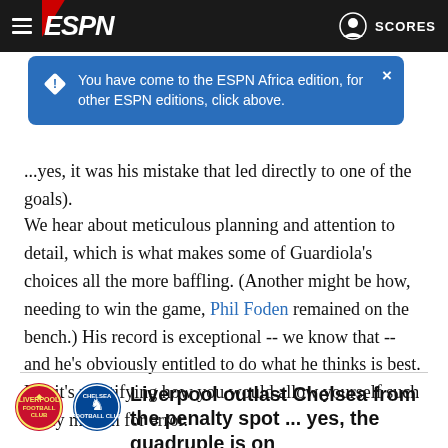ESPN — navigation bar with hamburger menu, ESPN logo, and SCORES link
[Figure (screenshot): Blue notification tooltip: 'You have come to the ESPN Africa edition, for other ESPN editions, click above.' with a close button (×)]
...yes, it was his mistake that led directly to one of the goals).
We hear about meticulous planning and attention to detail, which is what makes some of Guardiola's choices all the more baffling. (Another might be how, needing to win the game, Phil Foden remained on the bench.) His record is exceptional -- we know that -- and he's obviously entitled to do what he thinks is best. But it's mystifying how you would allow yourself such a tiny margin for error.
[Figure (logo): Liverpool FC crest logo]
[Figure (logo): Chelsea FC crest logo]
Liverpool outlast Chelsea from the penalty spot ... yes, the quadruple is on